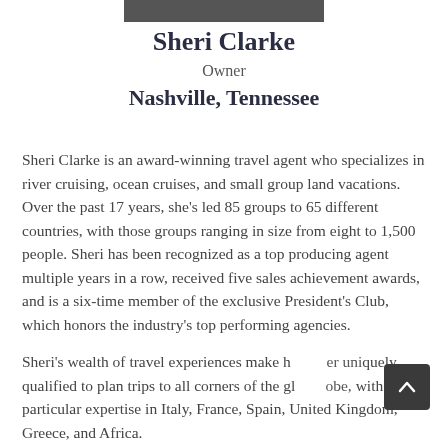[Figure (photo): Partial photo strip at top of page, cropped profile image of Sheri Clarke]
Sheri Clarke
Owner
Nashville, Tennessee
Sheri Clarke is an award-winning travel agent who specializes in river cruising, ocean cruises, and small group land vacations. Over the past 17 years, she’s led 85 groups to 65 different countries, with those groups ranging in size from eight to 1,500 people. Sheri has been recognized as a top producing agent multiple years in a row, received five sales achievement awards, and is a six-time member of the exclusive President’s Club, which honors the industry’s top performing agencies.
Sheri’s wealth of travel experiences make her uniquely qualified to plan trips to all corners of the globe, with particular expertise in Italy, France, Spain, United Kingdom, Greece, and Africa.